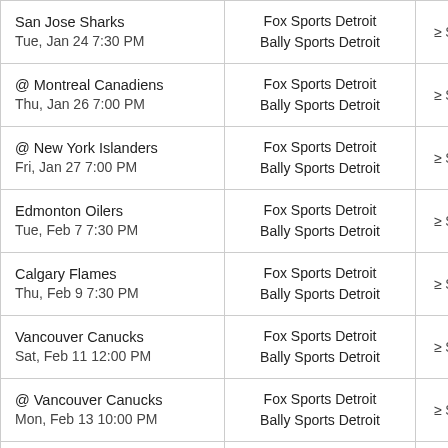| Game | Channels | Price |
| --- | --- | --- |
| San Jose Sharks
Tue, Jan 24 7:30 PM | Fox Sports Detroit
Bally Sports Detroit | ≥ $89.99 |
| @ Montreal Canadiens
Thu, Jan 26 7:00 PM | Fox Sports Detroit
Bally Sports Detroit | ≥ $89.99 |
| @ New York Islanders
Fri, Jan 27 7:00 PM | Fox Sports Detroit
Bally Sports Detroit | ≥ $89.99 |
| Edmonton Oilers
Tue, Feb 7 7:30 PM | Fox Sports Detroit
Bally Sports Detroit | ≥ $89.99 |
| Calgary Flames
Thu, Feb 9 7:30 PM | Fox Sports Detroit
Bally Sports Detroit | ≥ $89.99 |
| Vancouver Canucks
Sat, Feb 11 12:00 PM | Fox Sports Detroit
Bally Sports Detroit | ≥ $89.99 |
| @ Vancouver Canucks
Mon, Feb 13 10:00 PM | Fox Sports Detroit
Bally Sports Detroit | ≥ $89.99 |
| @ Edmonton Oilers | Fox Sports Detroit | ≥ $89.99 |